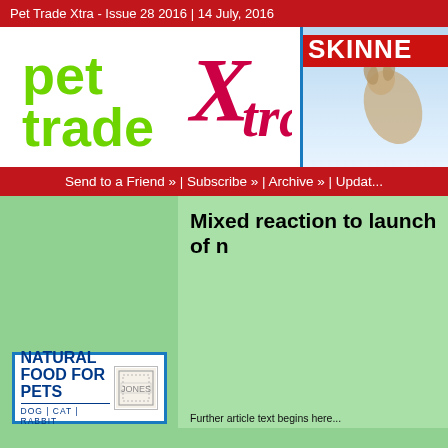Pet Trade Xtra - Issue 28 2016 | 14 July, 2016
[Figure (logo): Pet Trade Xtra logo with green 'pet trade' text and red italic 'Xtra' text]
[Figure (photo): Skinner's pet food advertisement showing a dog jumping, with 'SKINNE' text visible]
Send to a Friend » | Subscribe » | Archive » | Updat...
Mixed reaction to launch of n
[Figure (logo): Natural Food for Pets advertisement - DOG | CAT | RABBIT]
Further article text begins here...